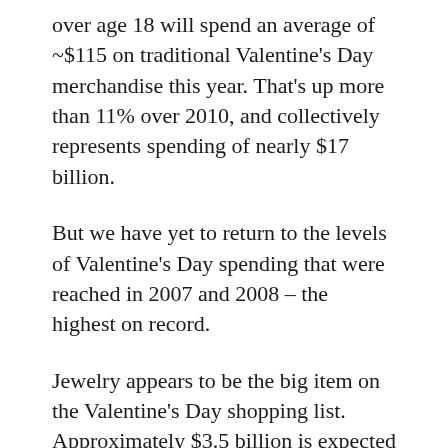over age 18 will spend an average of ~$115 on traditional Valentine's Day merchandise this year. That's up more than 11% over 2010, and collectively represents spending of nearly $17 billion.
But we have yet to return to the levels of Valentine's Day spending that were reached in 2007 and 2008 – the highest on record.
Jewelry appears to be the big item on the Valentine's Day shopping list. Approximately $3.5 billion is expected to be spent in this segment this year, which is up more than 15% from the ~$3.0 billion spent in 2010.
Dining out is another popular category, but its